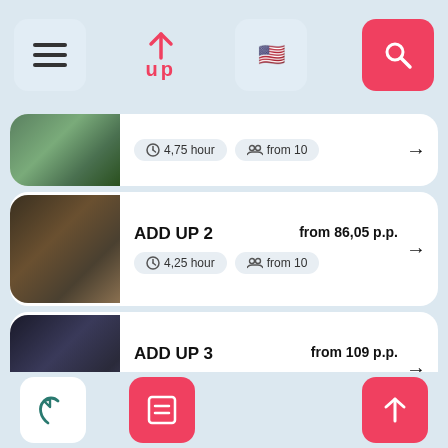[Figure (screenshot): App top navigation bar with hamburger menu, 'up' logo, flag icon, and search button]
4,75 hour  from 10  →
ADD UP 2  from 86,05 p.p.  4,25 hour  from 10  →
ADD UP 3  from 109 p.p.  5,6 hour  from 10  →
Amazing day  from 165,5 p.p.  hour  from 10
[Figure (screenshot): App bottom navigation bar with phone, book (active/red), and up-arrow buttons]